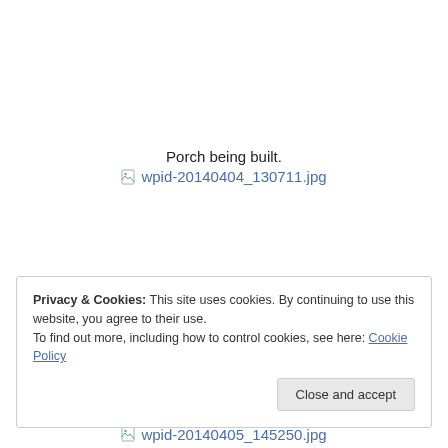Porch being built.
[Figure (photo): Broken image placeholder with link text 'wpid-20140404_130711.jpg']
Privacy & Cookies: This site uses cookies. By continuing to use this website, you agree to their use.
To find out more, including how to control cookies, see here: Cookie Policy
[Figure (photo): Broken image placeholder with partial link text 'wpid-20140405_145250.jpg']